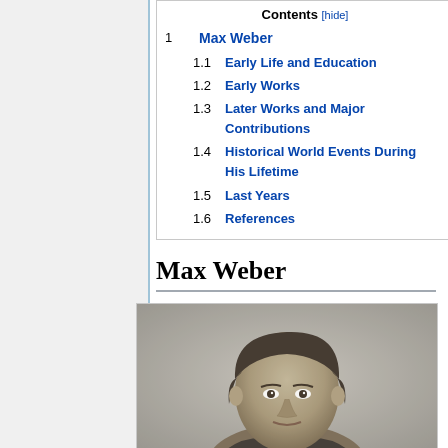Contents [hide]
1  Max Weber
1.1  Early Life and Education
1.2  Early Works
1.3  Later Works and Major Contributions
1.4  Historical World Events During His Lifetime
1.5  Last Years
1.6  References
Max Weber
[Figure (photo): Black and white portrait photograph of Max Weber as a young man]